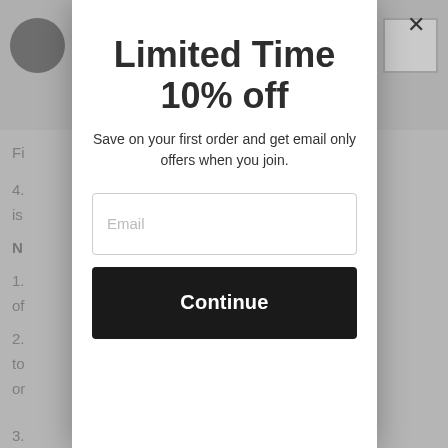[Figure (screenshot): Background webpage content partially visible behind modal, showing navigation bar with hamburger menu and cart icon, and numbered list items with greyed-out text]
Limited Time
10% off
Save on your first order and get email only offers when you join.
Email
Continue